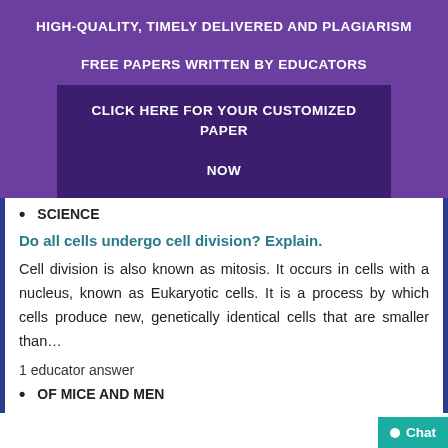HIGH-QUALITY, TIMELY DELIVERED AND PLAGIARISM FREE PAPERS WRITTEN BY EDUCATORS
CLICK HERE FOR YOUR CUSTOMIZED PAPER NOW
SCIENCE
Do all cells undergo cell division? Explain.
Cell division is also known as mitosis. It occurs in cells with a nucleus, known as Eukaryotic cells. It is a process by which cells produce new, genetically identical cells that are smaller than…
1 educator answer
OF MICE AND MEN